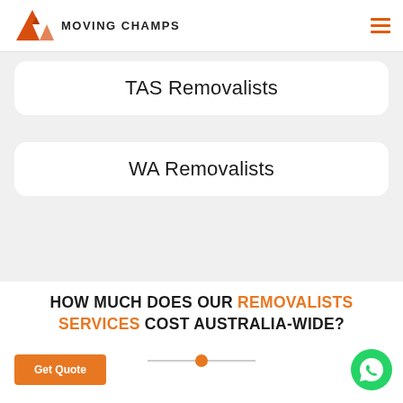[Figure (logo): Moving Champs logo with orange M icon and hamburger menu icon]
TAS Removalists
WA Removalists
HOW MUCH DOES OUR REMOVALISTS SERVICES COST AUSTRALIA-WIDE?
Get Quote